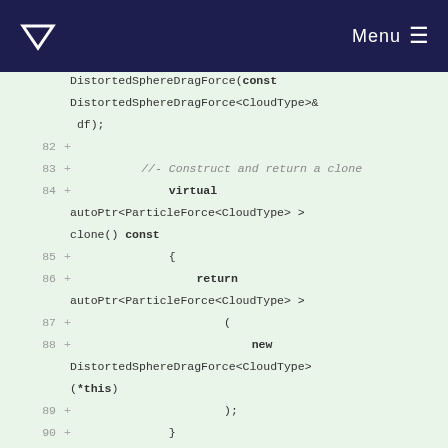Menu
[Figure (screenshot): Code diff view showing C++ class method definitions with line numbers 82-92, additions marked with '+', including a comment '//- Construct and return a clone', virtual method returning autoPtr<ParticleForce<CloudType>>, and clone() const implementation using new DistortedSphereDragForce<CloudType>(*this)]